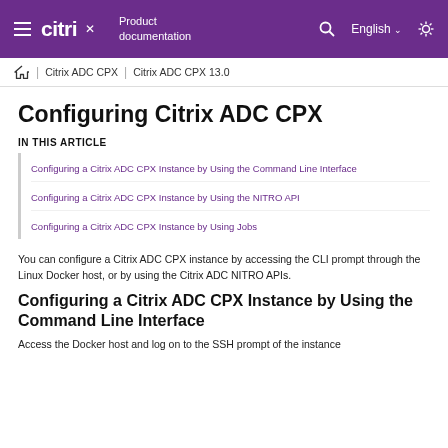citrix | Product documentation | English
Home | Citrix ADC CPX | Citrix ADC CPX 13.0
Configuring Citrix ADC CPX
IN THIS ARTICLE
Configuring a Citrix ADC CPX Instance by Using the Command Line Interface
Configuring a Citrix ADC CPX Instance by Using the NITRO API
Configuring a Citrix ADC CPX Instance by Using Jobs
You can configure a Citrix ADC CPX instance by accessing the CLI prompt through the Linux Docker host, or by using the Citrix ADC NITRO APIs.
Configuring a Citrix ADC CPX Instance by Using the Command Line Interface
Access the Docker host and log on to the SSH prompt of the instance